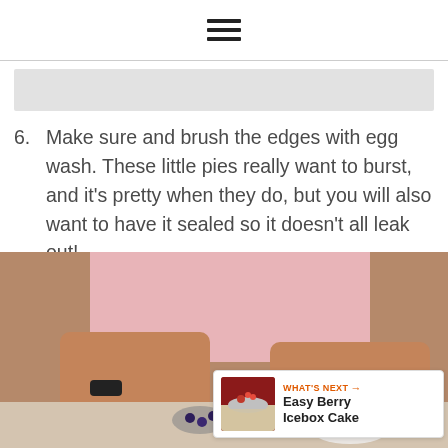≡
6. Make sure and brush the edges with egg wash. These little pies really want to burst, and it's pretty when they do, but you will also want to have it sealed so it doesn't all leak out!
[Figure (photo): Person in a pink top working with small pies on a table, hands visible brushing or sealing pie edges. A 'What's Next' panel shows Easy Berry Icebox Cake.]